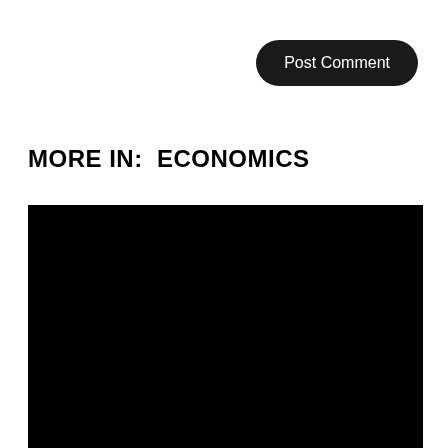Post Comment
MORE IN:  ECONOMICS
[Figure (photo): Black rectangular image placeholder below the MORE IN: ECONOMICS section header]